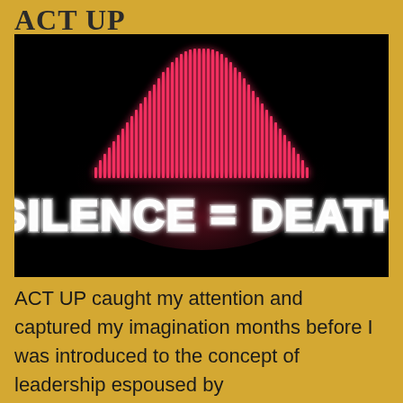ACT UP
[Figure (photo): ACT UP 'Silence = Death' neon sign artwork showing a pink neon triangle above the words SILENCE = DEATH in white neon lettering on a black background]
ACT UP caught my attention and captured my imagination months before I was introduced to the concept of leadership espoused by